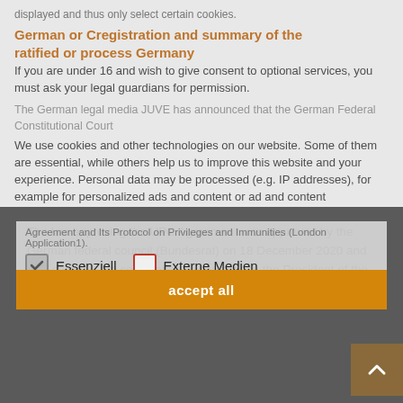displayed and thus only select certain cookies.
German or C registration and summary of the ratified or process Germany
If you are under 16 and wish to give consent to optional services, you must ask your legal guardians for permission.
The German legal media JUVE has announced that the German Federal Constitutional Court
We use cookies and other technologies on our website. Some of them are essential, while others help us to improve this website and your experience. Personal data may be processed (e.g. IP addresses), for example for personalized ads and content or ad and content measurement. You can find more information about the use of your data in our privacy policy. You can revoke or adjust
DW/A (120) Legislatory of Ratification calling Germany to ratify the Unified Patent Court (UPC).
Agreement and Its Protocol on Privileges and Immunities (London Application1).
Essenziell
Externe Medien
accept all
The law approving the UPC Agreement was approved by the German federal council (Bundesrat) on 18 December 2020 and was awaiting the certification (signature) by the President of the Federal Republic of Germany in order to enter into force.